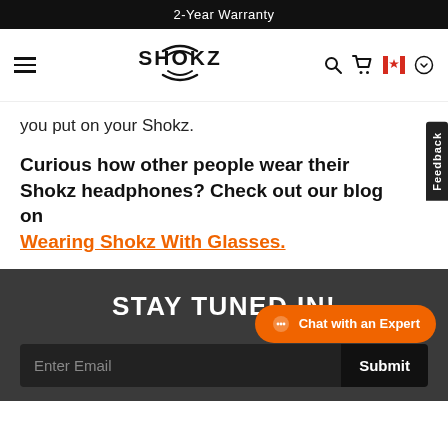2-Year Warranty
[Figure (logo): Shokz logo with soundwave icon, navigation hamburger menu, search, cart, Canada flag, and profile icons]
you put on your Shokz.
Curious how other people wear their Shokz headphones? Check out our blog on Wearing Shokz With Glasses.
STAY TUNED IN!
Enter Email
Submit
Chat with an Expert